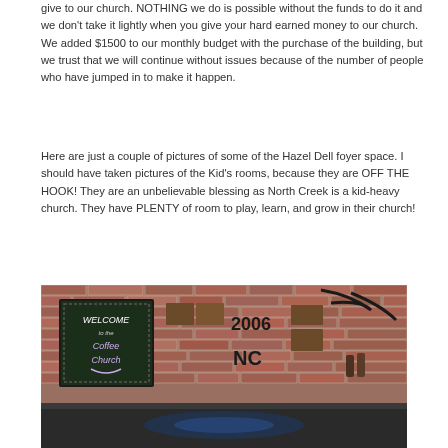give to our church. NOTHING we do is possible without the funds to do it and we don't take it lightly when you give your hard earned money to our church. We added $1500 to our monthly budget with the purchase of the building, but we trust that we will continue without issues because of the number of people who have jumped in to make it happen.
Here are just a couple of pictures of some of the Hazel Dell foyer space. I should have taken pictures of the Kid's rooms, because they are OFF THE HOOK! They are an unbelievable blessing as North Creek is a kid-heavy church. They have PLENTY of room to play, learn, and grow in their church!
[Figure (photo): Interior photo of the Hazel Dell church foyer showing a brick wall with wooden shelving units, a chalkboard sign reading 'Welcome to Coffee Church', the number '2006', NC logo, and a dark counter in the foreground.]